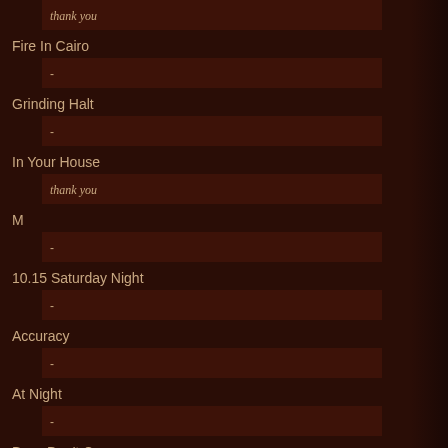thank you
Fire In Cairo
-
Grinding Halt
-
In Your House
thank you
M
-
10.15 Saturday Night
-
Accuracy
-
At Night
-
Boys Don't Cry
-